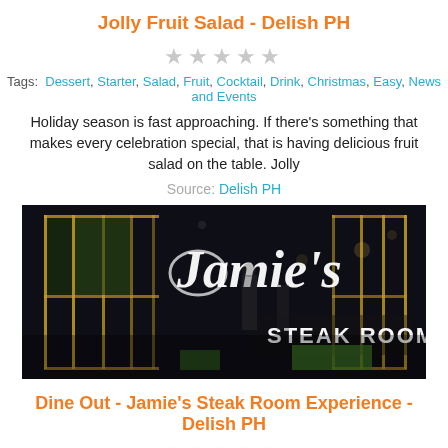Jolly Fruit Salad - Delish PH
★★★★★
Tags: Dessert, Starter, Salad, Fruit, Cocktail, Drink, Christmas, Easy, News and Events
Holiday season is fast approaching. If there's something that makes every celebration special, that is having delicious fruit salad on the table. Jolly
Source: Delish PH
[Figure (photo): Exterior photo of Jamie's Steak Room restaurant at night, showing the storefront with illuminated signage reading 'Jamie's STEAK ROOM']
Dine Out - Jamie's Steak Room Experience - Delish PH
★★★★★